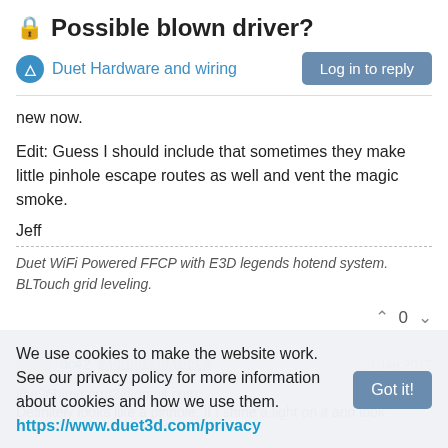🔒 Possible blown driver?
Duet Hardware and wiring   Log in to reply
new now.
Edit: Guess I should include that sometimes they make little pinhole escape routes as well and vent the magic smoke.
Jeff
Duet WiFi Powered FFCP with E3D legends hotend system. BLTouch grid leveling.
We use cookies to make the website work. See our privacy policy for more information about cookies and how we use them. https://www.duet3d.com/privacy